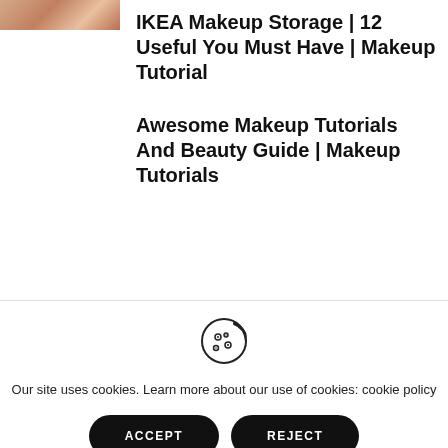[Figure (photo): Partial view of a person's shoulder/neck area, cropped at top of page]
IKEA Makeup Storage | 12 Useful You Must Have | Makeup Tutorial
Awesome Makeup Tutorials And Beauty Guide | Makeup Tutorials
[Figure (illustration): Cookie icon (a cookie with bite taken out and chocolate chips)]
Our site uses cookies. Learn more about our use of cookies: cookie policy
ACCEPT
REJECT